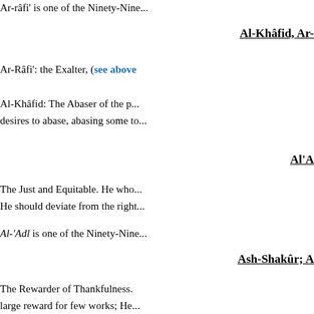Ar-râfi' is one of the Ninety-Nine...
Al-Khâfid, Ar-...
Ar-Râfi': the Exalter, (see above
Al-Khâfid: The Abaser of the p... desires to abase, abasing some to...
Al'A...
The Just and Equitable. He who... He should deviate from the right...
Al-'Adl is one of the Ninety-Nine...
Ash-Shakûr; A...
The Rewarder of Thankfulness. ... large reward for few works; He... slaves increase and who multipli...
As...
Truthful, untouched by the possi...
Al-Mu...